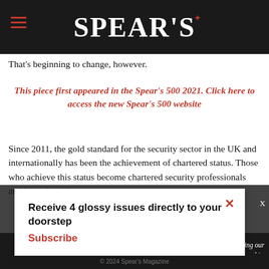SPEAR'S
That's beginning to change, however.
This piece first appeared in the Spear's 500 2021. Click here to access the new Spear's 500 website
Since 2011, the gold standard for the security sector in the UK and internationally has been the achievement of chartered status. Those who achieve this status become chartered security professionals and have the right to
Receive 4 glossy issues directly to your doorstep Subscribe
Continue  Learn more